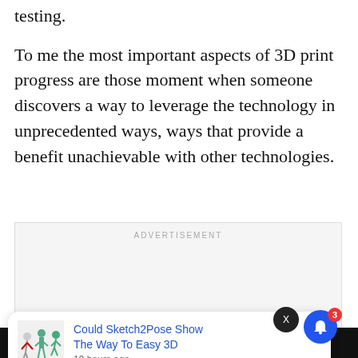testing.
To me the most important aspects of 3D print progress are those moment when someone discovers a way to leverage the technology in unprecedented ways, ways that provide a benefit unachievable with other technologies.
[Figure (other): Advertisement placeholder box with label ADVERTISEMENT]
[Figure (screenshot): Notification card showing article 'Could Sketch2Pose Show The Way To Easy 3D' posted 19 hours ago, with thumbnail image of 3D pose figures and a blue bell icon with badge showing 3 notifications]